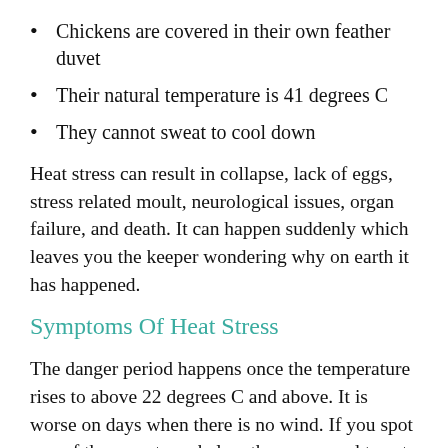Chickens are covered in their own feather duvet
Their natural temperature is 41 degrees C
They cannot sweat to cool down
Heat stress can result in collapse, lack of eggs, stress related moult, neurological issues, organ failure, and death. It can happen suddenly which leaves you the keeper wondering why on earth it has happened.
Symptoms Of Heat Stress
The danger period happens once the temperature rises to above 22 degrees C and above. It is worse on days when there is no wind. If you spot any of the symptoms below then you need to act very quickly.